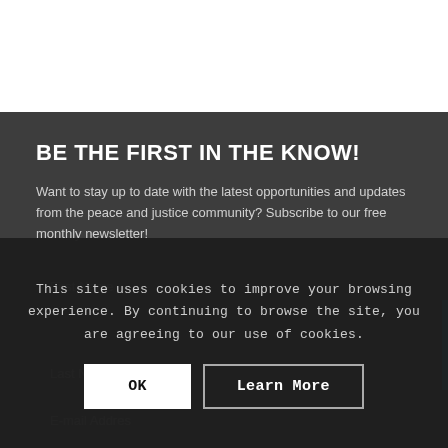BE THE FIRST IN THE KNOW!
Want to stay up to date with the latest opportunities and updates from the peace and justice community? Subscribe to our free monthly newsletter!
First Name
Last Name
E-mail Address
This site uses cookies to improve your browsing experience. By continuing to browse the site, you are agreeing to our use of cookies.
OK
Learn More